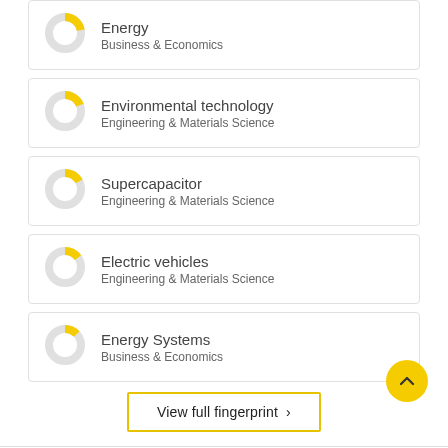Energy
Business & Economics
Environmental technology
Engineering & Materials Science
Supercapacitor
Engineering & Materials Science
Electric vehicles
Engineering & Materials Science
Energy Systems
Business & Economics
View full fingerprint >
Cite this